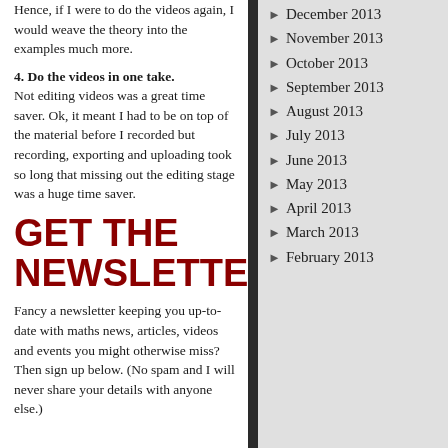Hence, if I were to do the videos again, I would weave the theory into the examples much more.
4. Do the videos in one take. Not editing videos was a great time saver. Ok, it meant I had to be on top of the material before I recorded but recording, exporting and uploading took so long that missing out the editing stage was a huge time saver.
GET THE NEWSLETTER!
Fancy a newsletter keeping you up-to-date with maths news, articles, videos and events you might otherwise miss? Then sign up below. (No spam and I will never share your details with anyone else.)
December 2013
November 2013
October 2013
September 2013
August 2013
July 2013
June 2013
May 2013
April 2013
March 2013
February 2013